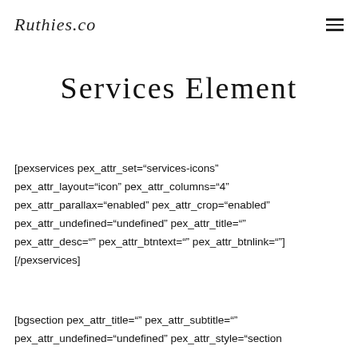Ruthies.co
Services Element
[pexservices pex_attr_set="services-icons" pex_attr_layout="icon" pex_attr_columns="4" pex_attr_parallax="enabled" pex_attr_crop="enabled" pex_attr_undefined="undefined" pex_attr_title="" pex_attr_desc="" pex_attr_btntext="" pex_attr_btnlink=""] [/pexservices]
[bgsection pex_attr_title="" pex_attr_subtitle="" pex_attr_undefined="undefined" pex_attr_style="section